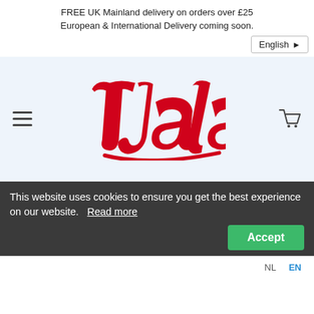FREE UK Mainland delivery on orders over £25
European & International Delivery coming soon.
English ▶
[Figure (logo): Tala brand logo in red cursive script on light blue background, with hamburger menu icon on left and shopping cart icon on right]
This website uses cookies to ensure you get the best experience on our website.   Read more
Accept
NL  EN